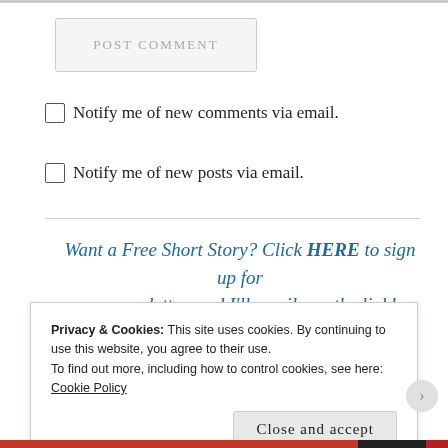POST COMMENT
☐ Notify me of new comments via email.
☐ Notify me of new posts via email.
Want a Free Short Story? Click HERE to sign up for my newsletter, and I'll email you the link!
Privacy & Cookies: This site uses cookies. By continuing to use this website, you agree to their use.
To find out more, including how to control cookies, see here:
Cookie Policy
Close and accept